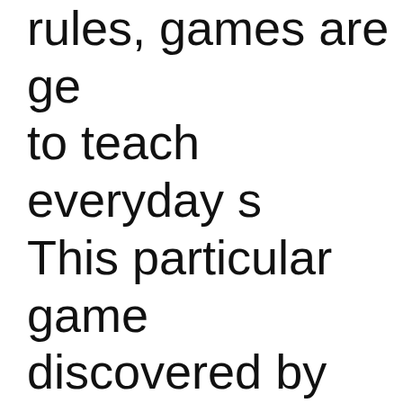rules, games are generally used to teach everyday s... This particular game was discovered by the a... research into games... in which they are in... functioning society, ... players to rupture so... causing the betraya...